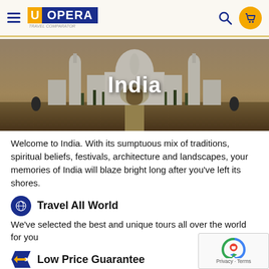UOPERA - Travel Comparator
[Figure (photo): Taj Mahal hero image with text overlay 'India']
India
Welcome to India. With its sumptuous mix of traditions, spiritual beliefs, festivals, architecture and landscapes, your memories of India will blaze bright long after you've left its shores.
Travel All World
We've selected the best and unique tours all over the world for you
Low Price Guarantee
All our tours are All-Inclusive without additional payments